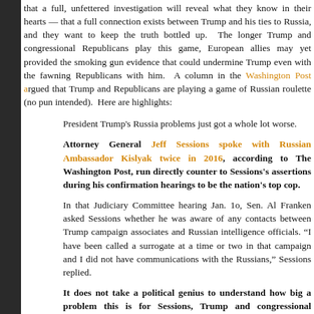that a full, unfettered investigation will reveal what they know in their hearts — that a full connection exists between Trump and his ties to Russia, and they want to keep the truth bottled up. The longer Trump and congressional Republicans play this game, European allies may yet provided the smoking gun evidence that could undermine Trump even with the fawning Republicans with him. A column in the Washington Post argued that Trump and Republicans are playing a game of Russian roulette (no pun intended). Here are highlights:
President Trump's Russia problems just got a whole lot worse.
Attorney General Jeff Sessions spoke with Russian Ambassador Kislyak twice in 2016, according to The Washington Post, run directly counter to Sessions's assertions during his confirmation hearings to be the nation's top cop.
In that Judiciary Committee hearing Jan. 1o, Sen. Al Franken asked Sessions whether he was aware of any contacts between Trump campaign associates and Russian intelligence officials. "I have been called a surrogate at a time or two in that campaign and I did not have communications with the Russians," Sessions replied.
It does not take a political genius to understand how big a problem this is for Sessions, Trump and congressional Republicans more broadly. (Sessions's response — I talked to a lot people! — isn't going to cut it.)
Before this report, most congressional Republicans were resistant to the idea of appointing a special prosecutor to investigate the contacts between Russian officials and Trump campaign officials and surrogates — insisting instead that the FBI investigation and congressional committees looking into the issue were more than enough.
That's going to become an untenable position for Republicans, however.